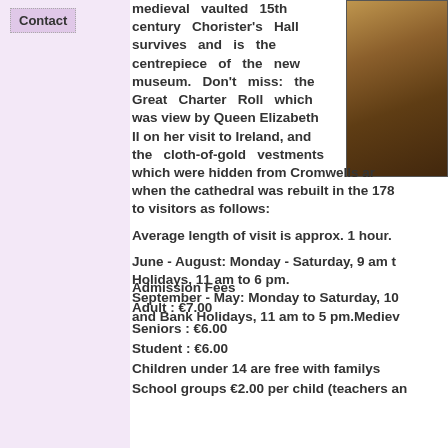Contact
medieval vaulted 15th century Chorister's Hall survives and is the centrepiece of the new museum. Don't miss: the Great Charter Roll which was view by Queen Elizabeth II on her visit to Ireland, and the cloth-of-gold vestments which were hidden from Cromwells army when the cathedral was rebuilt in the 178 to visitors as follows:
[Figure (photo): Stone archway or tunnel in warm amber/brown tones]
Average length of visit is approx. 1 hour.
June - August: Monday - Saturday, 9 am to Holidays, 11 am to 6 pm.
September - May: Monday to Saturday, 10 and Bank Holidays, 11 am to 5 pm.Mediev
Admission Fees
Adult : €7.00
Seniors : €6.00
Student : €6.00
Children under 14 are free with familys
School groups €2.00 per child (teachers an